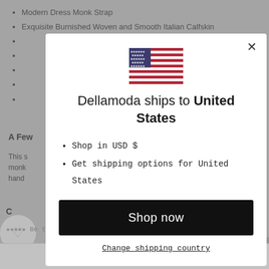Modern Dress Monk Strap
Exquisite Burnished Woven and Smooth Italian Calfskin
A Few...
This s... in monk... hand...
[Figure (screenshot): Modal dialog with US flag, title 'Dellamoda ships to United States', shop in USD $, get shipping options for United States, Shop now button, Change shipping country link]
Be the first to write a review
Write a review